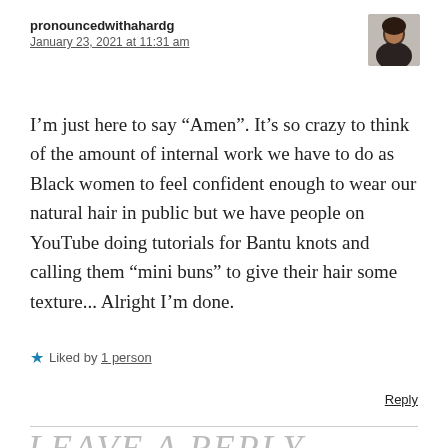pronouncedwithahardg
January 23, 2021 at 11:31 am
[Figure (photo): Small avatar photo of a person with dark hair against a light background]
I’m just here to say “Amen”. It’s so crazy to think of the amount of internal work we have to do as Black women to feel confident enough to wear our natural hair in public but we have people on YouTube doing tutorials for Bantu knots and calling them “mini buns” to give their hair some texture... Alright I’m done.
★ Liked by 1 person
Reply
LEAVE A REPLY